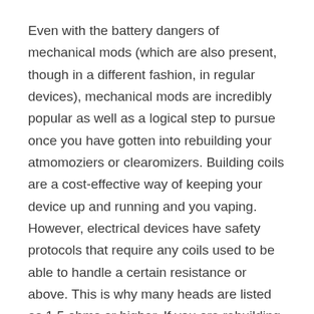Even with the battery dangers of mechanical mods (which are also present, though in a different fashion, in regular devices), mechanical mods are incredibly popular as well as a logical step to pursue once you have gotten into rebuilding your atmomoziers or clearomizers. Building coils are a cost-effective way of keeping your device up and running and you vaping. However, electrical devices have safety protocols that require any coils used to be able to handle a certain resistance or above. This is why many heads are listed as 1.5 ohms or higher. If you are rebuilding devices for electrical devices, you are rather limited as to how low your coil’s resistance can be.
With mechanical mods, you are not limited to this.